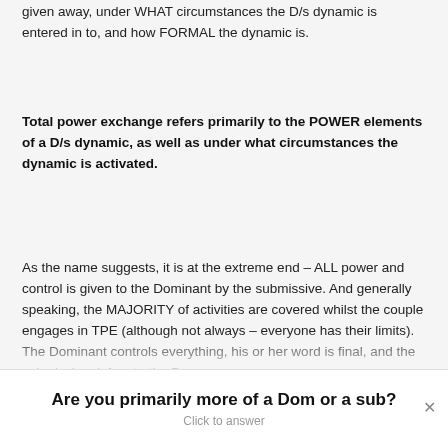given away, under WHAT circumstances the D/s dynamic is entered in to, and how FORMAL the dynamic is.
Total power exchange refers primarily to the POWER elements of a D/s dynamic, as well as under what circumstances the dynamic is activated.
As the name suggests, it is at the extreme end – ALL power and control is given to the Dominant by the submissive. And generally speaking, the MAJORITY of activities are covered whilst the couple engages in TPE (although not always – everyone has their limits). The Dominant controls everything, his or her word is final, and the submissive defers to the Dom
Are you primarily more of a Dom or a sub?
Click to answer